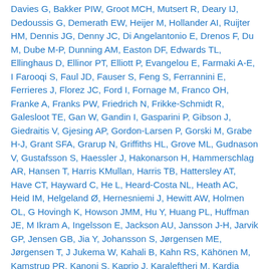Davies G, Bakker PIW, Groot MCH, Mutsert R, Deary IJ, Dedoussis G, Demerath EW, Heijer M, Hollander AI, Ruijter HM, Dennis JG, Denny JC, Di Angelantonio E, Drenos F, Du M, Dube M-P, Dunning AM, Easton DF, Edwards TL, Ellinghaus D, Ellinor PT, Elliott P, Evangelou E, Farmaki A-E, I Farooqi S, Faul JD, Fauser S, Feng S, Ferrannini E, Ferrieres J, Florez JC, Ford I, Fornage M, Franco OH, Franke A, Franks PW, Friedrich N, Frikke-Schmidt R, Galesloot TE, Gan W, Gandin I, Gasparini P, Gibson J, Giedraitis V, Gjesing AP, Gordon-Larsen P, Gorski M, Grabe H-J, Grant SFA, Grarup N, Griffiths HL, Grove ML, Gudnason V, Gustafsson S, Haessler J, Hakonarson H, Hammerschlag AR, Hansen T, Harris KMullan, Harris TB, Hattersley AT, Have CT, Hayward C, He L, Heard-Costa NL, Heath AC, Heid IM, Helgeland Ø, Hernesniemi J, Hewitt AW, Holmen OL, G Hovingh K, Howson JMM, Hu Y, Huang PL, Huffman JE, M Ikram A, Ingelsson E, Jackson AU, Jansson J-H, Jarvik GP, Jensen GB, Jia Y, Johansson S, Jørgensen ME, Jørgensen T, J Jukema W, Kahali B, Kahn RS, Kähönen M, Kamstrup PR, Kanoni S, Kaprio J, Karaleftheri M, Kardia SLR, Karpe F, Kathiresan S, Kee F, Kiemeney LA, Kim E, Kitajima H, Komulainen P, Kooner JS, Kooperberg C, Korhonen T, Kovacs P, Kuivaniemi H, Kutalik Z, Kuulasmaa K, Kuusisto J, Laakso M, Lakka TA, Lamparter D, Lange EM, Lange LA, Langenberg C,